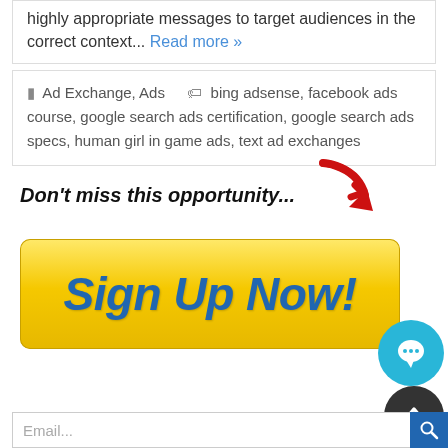highly appropriate messages to target audiences in the correct context... Read more »
Ad Exchange, Ads  bing adsense, facebook ads course, google search ads certification, google search ads specs, human girl in game ads, text ad exchanges
[Figure (infographic): Don't miss this opportunity... with red arrow pointing down to a yellow Sign Up Now! button]
[Figure (other): Blue chat bubble icon with speech bubble symbol]
[Figure (other): Dark scroll-to-top circle button with upward arrow]
Email...